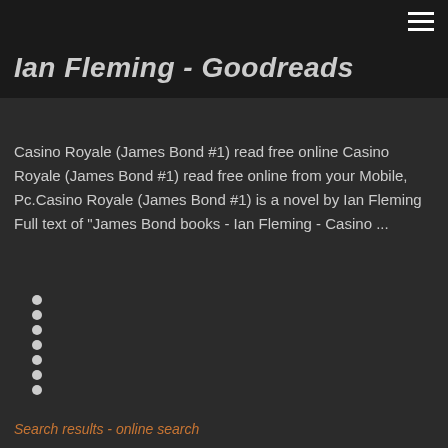Ian Fleming - Goodreads
Ian Fleming - Goodreads
Casino Royale (James Bond #1) read free online Casino Royale (James Bond #1) read free online from your Mobile, Pc.Casino Royale (James Bond #1) is a novel by Ian Fleming Full text of "James Bond books - Ian Fleming - Casino ...
Search results - online search